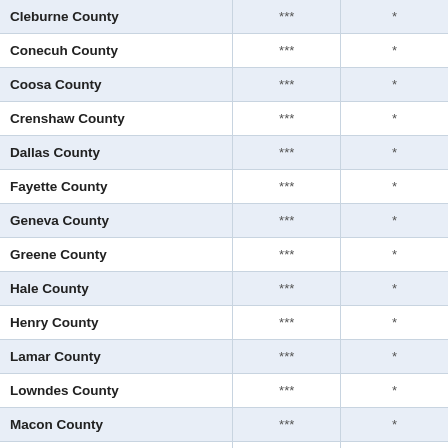| Cleburne County | *** | * |
| Conecuh County | *** | * |
| Coosa County | *** | * |
| Crenshaw County | *** | * |
| Dallas County | *** | * |
| Fayette County | *** | * |
| Geneva County | *** | * |
| Greene County | *** | * |
| Hale County | *** | * |
| Henry County | *** | * |
| Lamar County | *** | * |
| Lowndes County | *** | * |
| Macon County | *** | * |
| Marengo County | *** | * |
| Monroe County | *** | * |
| Perry County | *** | * |
| Pickens County | *** | * |